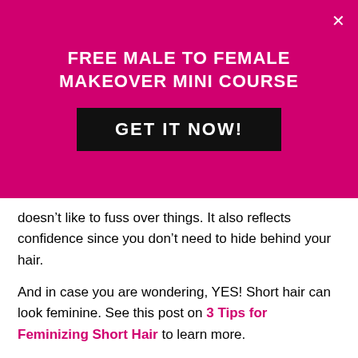FREE MALE TO FEMALE MAKEOVER MINI COURSE
GET IT NOW!
doesn’t like to fuss over things. It also reflects confidence since you don’t need to hide behind your hair.
And in case you are wondering, YES! Short hair can look feminine. See this post on 3 Tips for Feminizing Short Hair to learn more.
Long Hair
[Figure (photo): Photo of a woman with long curly/wavy hair, light brown color, in front of a light blue/grey background]